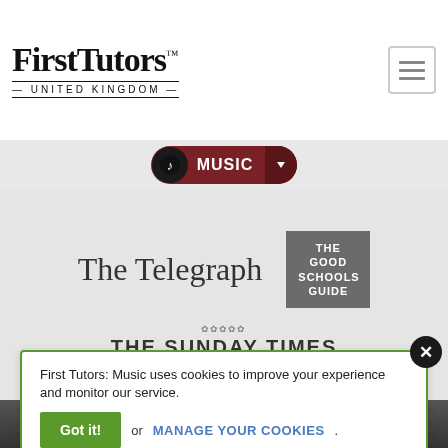[Figure (logo): First Tutors United Kingdom logo — serif wordmark with TM, decorative lines flanking 'UNITED KINGDOM']
[Figure (other): Hamburger menu icon button (three horizontal lines) in a rounded square border]
[Figure (other): Music navigation button: dark circle with music note icon, dark red pill shape with label MUSIC and dropdown caret]
[Figure (other): The Telegraph newspaper logo in blackletter/gothic font]
[Figure (other): The Good Schools Guide logo — grey square with white text reading THE GOOD SCHOOLS GUIDE]
[Figure (other): The Sunday Times newspaper logo with small decorative emblem above the name]
First Tutors: Music uses cookies to improve your experience and monitor our service.
Got it! or MANAGE YOUR COOKIES.